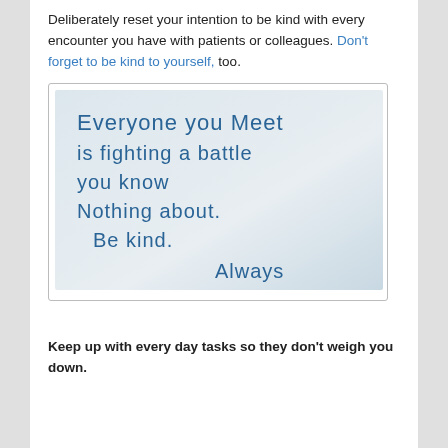Deliberately reset your intention to be kind with every encounter you have with patients or colleagues. Don't forget to be kind to yourself, too.
[Figure (photo): Photo of a whiteboard with handwritten text in blue marker reading: 'Everyone you meet is fighting a battle you know nothing about. Be kind. Always']
Keep up with every day tasks so they don't weigh you down.